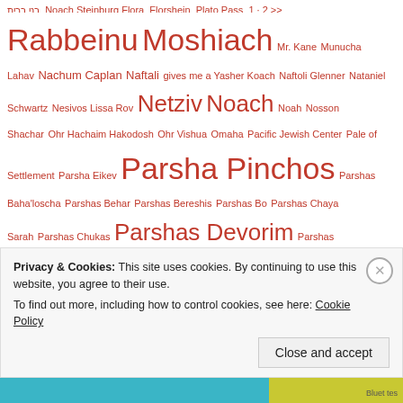Rabbeinu Moshiach Mr. Kane Munucha Lahav Nachum Caplan Naftali gives me a Yasher Koach Naftoli Glenner Nataniel Schwartz Nesivos Lissa Rov Netziv Noach Noah Nosson Shachar Ohr Hachaim Hakodosh Ohr Vishua Omaha Pacific Jewish Center Pale of Settlement Parsha Eikev Parsha Pinchos Parshas Baha'loscha Parshas Behar Parshas Bereshis Parshas Bo Parshas Chaya Sarah Parshas Chukas Parshas Devorim Parshas Eikev Parshas Kedoshim Parshas Ki Teitzei Parshas Matos Parshas Mishpatim Parshas Netzavim Parshas Pekudei Parshas Shmos Parshas V'Yigash Parshas Va'Yichi Parshas Va'erah Parshas VaYechi Parshas VaYeira Parshas VaYishlach Parshas Veschanan Pastor John Hagee Peggy and Sid Kaz Pesach Pickett's Charge Pilaver-Kotzker Rebbe Pope
Privacy & Cookies: This site uses cookies. By continuing to use this website, you agree to their use. To find out more, including how to control cookies, see here: Cookie Policy
Close and accept